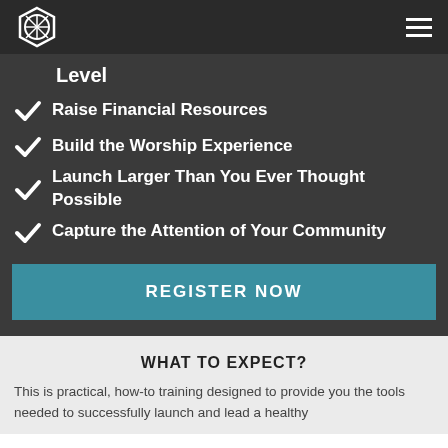Level
Raise Financial Resources
Build the Worship Experience
Launch Larger Than You Ever Thought Possible
Capture the Attention of Your Community
REGISTER NOW
WHAT TO EXPECT?
This is practical, how-to training designed to provide you the tools needed to successfully launch and lead a healthy